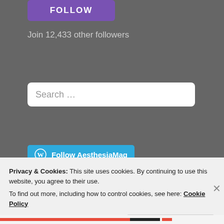[Figure (screenshot): Purple FOLLOW button]
Join 12,433 other followers
[Figure (screenshot): Search input box with placeholder text 'Search ...']
[Figure (screenshot): Follow AesthesiaMag button with WordPress icon]
Privacy & Cookies: This site uses cookies. By continuing to use this website, you agree to their use.
To find out more, including how to control cookies, see here: Cookie Policy
[Figure (screenshot): Close and accept button]